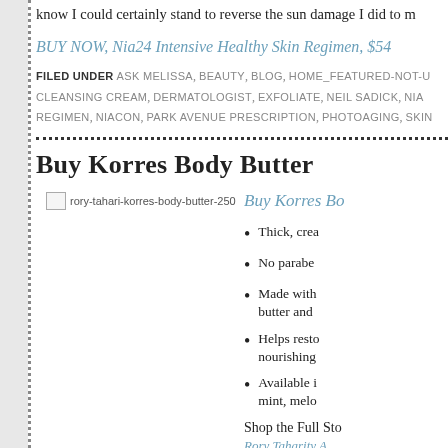know I could certainly stand to reverse the sun damage I did to m
BUY NOW, Nia24 Intensive Healthy Skin Regimen, $54
FILED UNDER ASK MELISSA, BEAUTY, BLOG, HOME_FEATURED-NOT-U CLEANSING CREAM, DERMATOLOGIST, EXFOLIATE, NEIL SADICK, NIA REGIMEN, NIACON, PARK AVENUE PRESCRIPTION, PHOTOAGING, SKIN
Buy Korres Body Butter
[Figure (photo): Broken image placeholder for rory-tahari-korres-body-butter-250]
Buy Korres Bo
Thick, crea
No parabe
Made with butter and
Helps resto nourishing
Available i mint, melo
Shop the Full Sto
Rory Taharity A